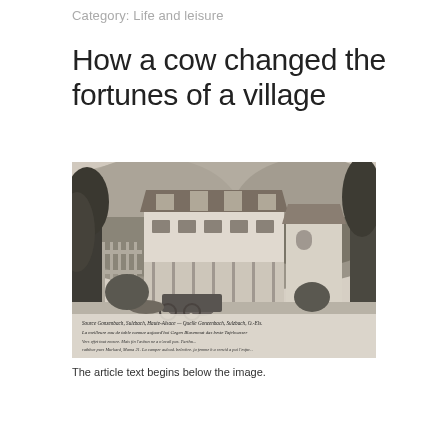Category: Life and leisure
How a cow changed the fortunes of a village
[Figure (photo): Vintage black-and-white postcard photograph of a large multi-story hotel or spa building in a wooded landscape. A horse-drawn carriage is visible in front. Handwritten French and German text at the bottom reads: Source Gonzenbach, Sulzbach, Haute-Alsace — Quelle Gonzenbach, Sulzbach, O.-Els. La meilleure eau de table connue aujourd'hui / Gegen Blasenmat das beste Tafelwasser]
The article text begins below the image.